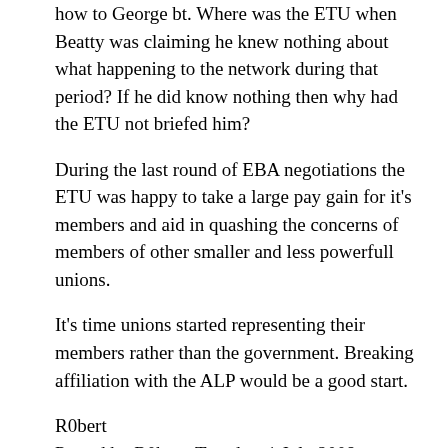how to George bt. Where was the ETU when Beatty was claiming he knew nothing about what happening to the network during that period? If he did know nothing then why had the ETU not briefed him?
During the last round of EBA negotiations the ETU was happy to take a large pay gain for it’s members and aid in quashing the concerns of members of other smaller and less powerfull unions.
It’s time unions started representing their members rather than the government. Breaking affiliation with the ALP would be a good start.
R0bert
Posted by R0bert, Tuesday, 1 July 2008 12:59:37 PM
As I hoped to make clear from the article I am not concerned about the ETU’s disaffiliation from the...